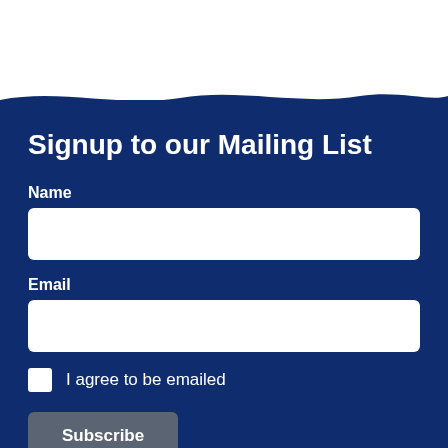Signup to our Mailing List
Name
Email
I agree to be emailed
Subscribe